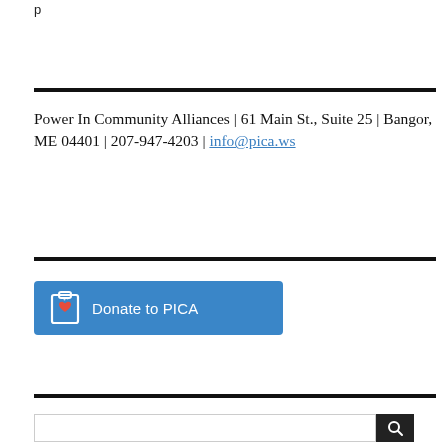p
Power In Community Alliances | 61 Main St., Suite 25 | Bangor, ME 04401 | 207-947-4203 | info@pica.ws
[Figure (other): Blue button with clipboard-heart icon and text 'Donate to PICA']
Search bar with dark search button